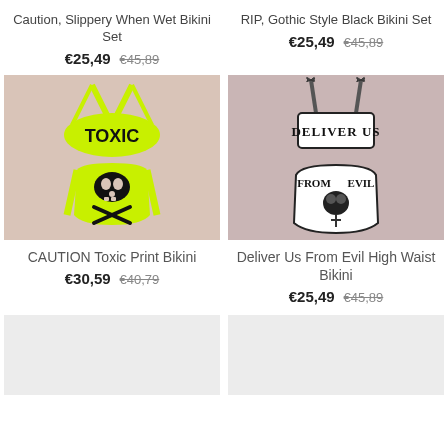Caution, Slippery When Wet Bikini Set
€25,49  €45,89
RIP, Gothic Style Black Bikini Set
€25,49  €45,89
[Figure (photo): Neon yellow-green TOXIC print bikini set with skull and crossbones on bottoms, on a pink-beige background]
[Figure (photo): White bikini set with 'DELIVER US FROM EVIL' text and gothic cross print, on a mauve background]
CAUTION Toxic Print Bikini
€30,59  €40,79
Deliver Us From Evil High Waist Bikini
€25,49  €45,89
[Figure (photo): Partially visible product image placeholder (bottom left)]
[Figure (photo): Partially visible product image placeholder (bottom right)]